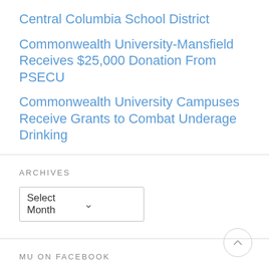Central Columbia School District
Commonwealth University-Mansfield Receives $25,000 Donation From PSECU
Commonwealth University Campuses Receive Grants to Combat Underage Drinking
ARCHIVES
Select Month
MU ON FACEBOOK